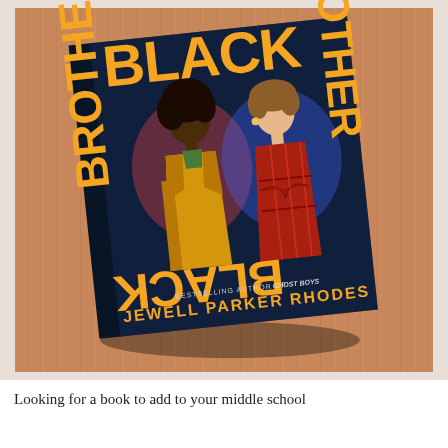[Figure (photo): A hardcover book titled 'Black Brother, Black Brother' by Jewell Parker Rhodes, bestselling author of Ghost Boys, photographed on a wooden floor. The book cover shows two young people standing back-to-back with large yellow title text arranged vertically and horizontally.]
Looking for a book to add to your middle school